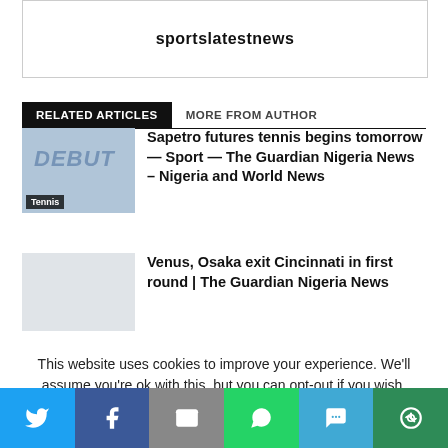sportslatestnews
RELATED ARTICLES   MORE FROM AUTHOR
Sapetro futures tennis begins tomorrow — Sport — The Guardian Nigeria News – Nigeria and World News
Tennis
Venus, Osaka exit Cincinnati in first round | The Guardian Nigeria News
This website uses cookies to improve your experience. We'll assume you're ok with this, but you can opt-out if you wish.
Share buttons: Twitter, Facebook, Email, WhatsApp, SMS, More